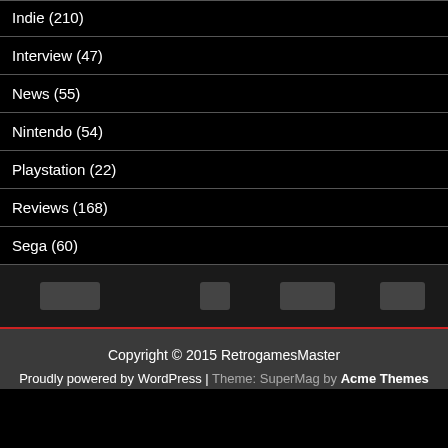Indie (210)
Interview (47)
News (55)
Nintendo (54)
Playstation (22)
Reviews (168)
Sega (60)
Copyright © 2015 RetrogamesMaster
Proudly powered by WordPress | Theme: SuperMag by Acme Themes